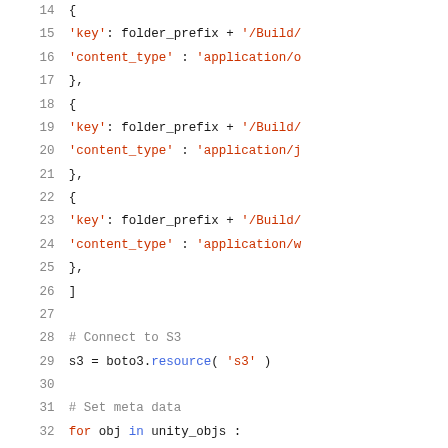Code listing lines 14-34: Python code for connecting to S3 and setting metadata on unity objects